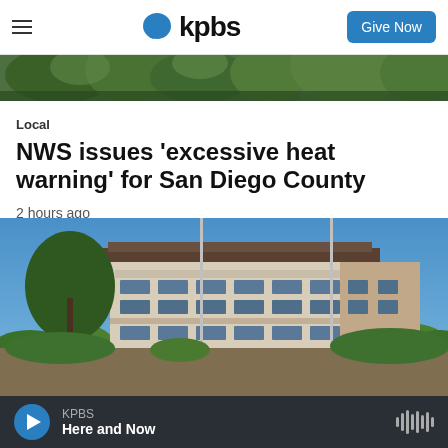KPBS — Give Now
[Figure (photo): Partial view of green tree canopy, top portion of an article image]
Local
NWS issues 'excessive heat warning' for San Diego County
2 hours ago
[Figure (photo): Exterior of a modern multi-story building with beige/brown facade and large horizontal windows, blue sky, flagpoles, and greenery in foreground]
KPBS Here and Now — audio player bar